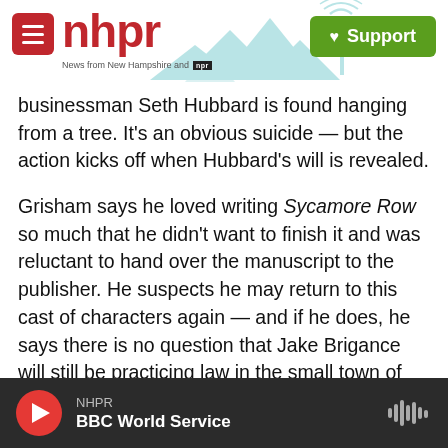nhpr — News from New Hampshire and NPR | Support
businessman Seth Hubbard is found hanging from a tree. It's an obvious suicide — but the action kicks off when Hubbard's will is revealed.
Grisham says he loved writing Sycamore Row so much that he didn't want to finish it and was reluctant to hand over the manuscript to the publisher. He suspects he may return to this cast of characters again — and if he does, he says there is no question that Jake Brigance will still be practicing law in the small town of Clanton, Miss. "Oh yeah, he's not going anywhere. You know, he's been out of law school for 10 years, and it would
NHPR — BBC World Service